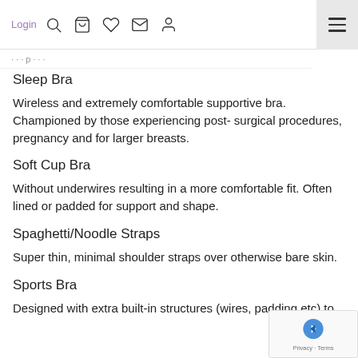Login [icons: search, bag, wishlist, message, account] [hamburger menu]
Sleep Bra
Wireless and extremely comfortable supportive bra. Championed by those experiencing post- surgical procedures, pregnancy and for larger breasts.
Soft Cup Bra
Without underwires resulting in a more comfortable fit. Often lined or padded for support and shape.
Spaghetti/Noodle Straps
Super thin, minimal shoulder straps over otherwise bare skin.
Sports Bra
Designed with extra built-in structures (wires, padding etc) to